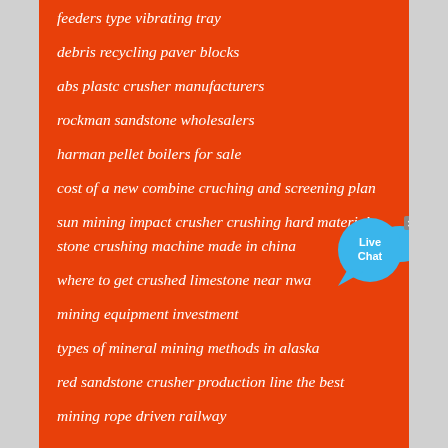feeders type vibrating tray
debris recycling paver blocks
abs plastc crusher manufacturers
rockman sandstone wholesalers
harman pellet boilers for sale
cost of a new combine cruching and screening plan
sun mining impact crusher crushing hard material
stone crushing machine made in china
where to get crushed limestone near nwa
mining equipment investment
types of mineral mining methods in alaska
red sandstone crusher production line the best
mining rope driven railway